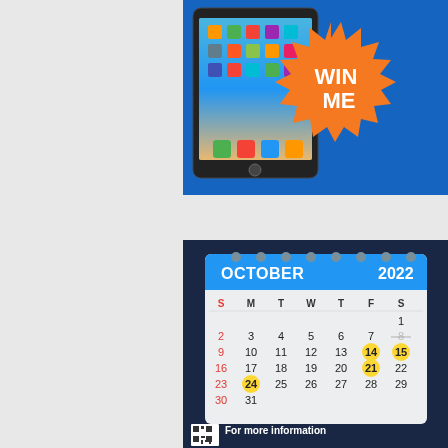[Figure (illustration): iPad tablet with home screen showing apps, overlaid with an orange starburst badge reading WIN ME, on a blue background.]
[Figure (illustration): October 2022 calendar on a dark navy background, showing a desk calendar style with spiral rings at the top. Certain dates (8, 14, 15, 21, 24) are highlighted or crossed out. A QR code and 'For more information' text appear at the bottom.]